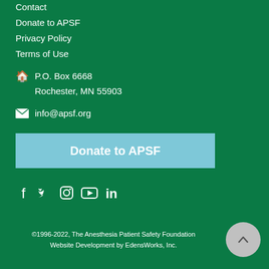Contact
Donate to APSF
Privacy Policy
Terms of Use
P.O. Box 6668
Rochester, MN 55903
info@apsf.org
Donate to APSF
[Figure (infographic): Social media icons: Facebook, Twitter, Instagram, YouTube, LinkedIn]
©1996-2022, The Anesthesia Patient Safety Foundation
Website Development by EdensWorks, Inc.